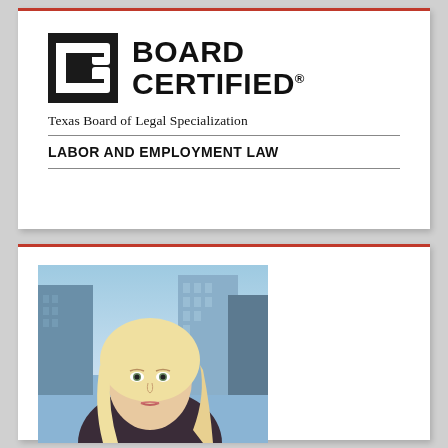[Figure (logo): Texas Board of Legal Specialization - Board Certified logo with stylized C/B icon and text 'BOARD CERTIFIED', 'Texas Board of Legal Specialization', 'LABOR AND EMPLOYMENT LAW']
[Figure (photo): Professional headshot of a blonde woman attorney with city skyline buildings in the background, wearing a dark top]